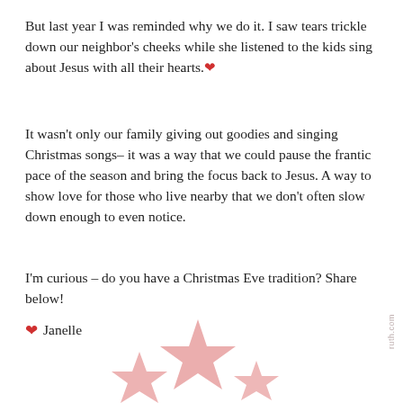But last year I was reminded why we do it. I saw tears trickle down our neighbor's cheeks while she listened to the kids sing about Jesus with all their hearts.❤
It wasn't only our family giving out goodies and singing Christmas songs– it was a way that we could pause the frantic pace of the season and bring the focus back to Jesus. A way to show love for those who live nearby that we don't often slow down enough to even notice.
I'm curious – do you have a Christmas Eve tradition? Share below!
❤ Janelle
[Figure (illustration): Pink star decorations at the bottom of the page]